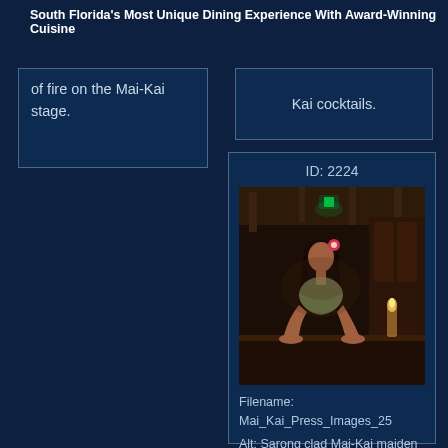South Florida's Most Unique Dining Experience With Award-Winning Cuisine
of fire on the Mai-Kai stage.
Kai cocktails.
ID: 2224
[Figure (photo): Sarong clad Mai-Kai maiden at a dark bar counter in a tiki-themed interior with dim lighting and green accent light above.]
Filename: Mai_Kai_Press_Images_25
Alt: Sarong clad Mai-Kai maiden displays a tray